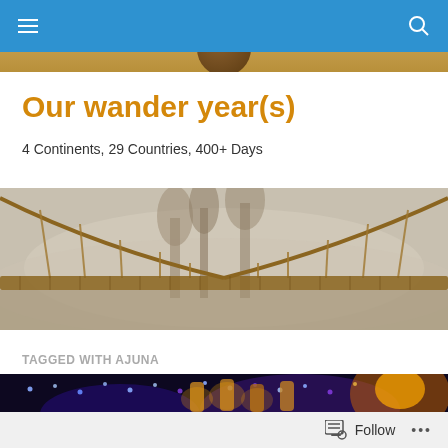Navigation bar with menu and search icons
[Figure (photo): Top hero image strip showing partial circular portrait/avatar on golden/brown background]
Our wander year(s)
4 Continents, 29 Countries, 400+ Days
[Figure (photo): Wide horizontal photo of a rope suspension bridge in misty forest]
TAGGED WITH AJUNA
[Figure (photo): Night market or festival scene with colorful string lights and lanterns in blue, purple and orange]
Follow  ...